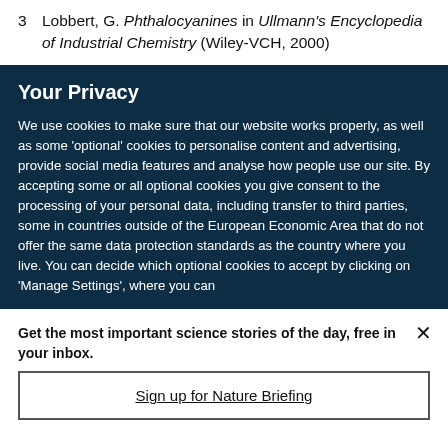3  Lobbert, G. Phthalocyanines in Ullmann's Encyclopedia of Industrial Chemistry (Wiley-VCH, 2000)
Your Privacy
We use cookies to make sure that our website works properly, as well as some 'optional' cookies to personalise content and advertising, provide social media features and analyse how people use our site. By accepting some or all optional cookies you give consent to the processing of your personal data, including transfer to third parties, some in countries outside of the European Economic Area that do not offer the same data protection standards as the country where you live. You can decide which optional cookies to accept by clicking on 'Manage Settings', where you can
Get the most important science stories of the day, free in your inbox.
Sign up for Nature Briefing